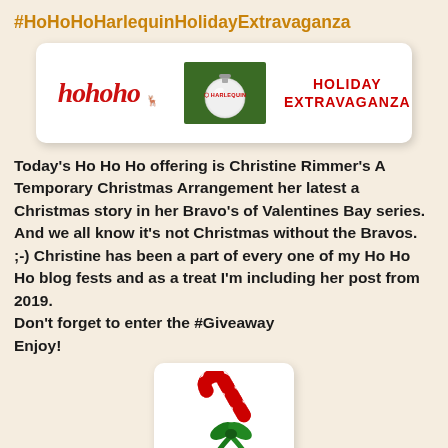#HoHoHoHarlequinHolidayExtravaganza
[Figure (illustration): Harlequin Holiday Extravaganza banner card with HoHoHo script logo, a green Christmas ornament with Harlequin logo, and red text reading HOLIDAY EXTRAVAGANZA]
Today's Ho Ho Ho offering is Christine Rimmer's A Temporary Christmas Arrangement her latest a Christmas story in her Bravo's of Valentines Bay series. And we all know it's not Christmas without the Bravos. ;-)  Christine has been a part of every one of my Ho Ho Ho blog fests and as a treat I'm including her post from 2019.
Don't forget to enter the #Giveaway
Enjoy!
[Figure (illustration): Candy cane with red and white stripes and a green bow, on a white rounded card]